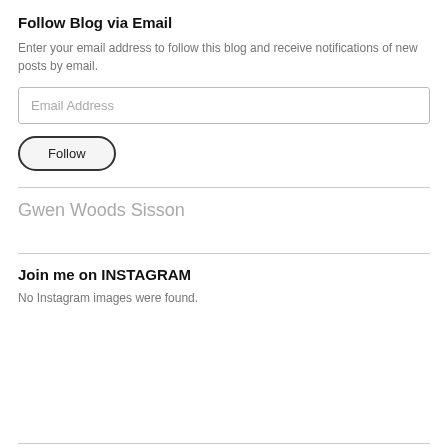Follow Blog via Email
Enter your email address to follow this blog and receive notifications of new posts by email.
Email Address
Follow
Gwen Woods Sisson
Join me on INSTAGRAM
No Instagram images were found.